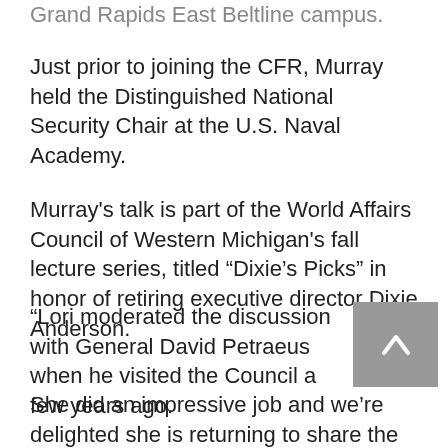Grand Rapids East Beltline campus.
Just prior to joining the CFR, Murray held the Distinguished National Security Chair at the U.S. Naval Academy.
Murray's talk is part of the World Affairs Council of Western Michigan's fall lecture series, titled “Dixie's Picks” in honor of retiring executive director Dixie Anderson.
“Lori moderated the discussion with General David Petraeus when he visited the Council a few years ago. She did an impressive job and we’re delighted she is returning to share the results of her own work and